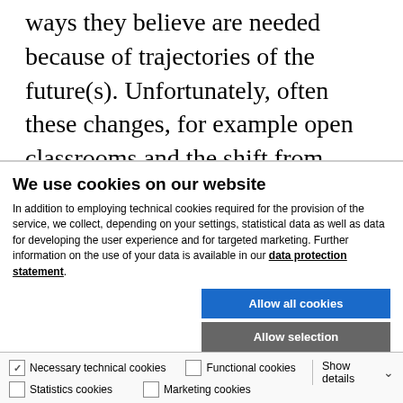ways they believe are needed because of trajectories of the future(s). Unfortunately, often these changes, for example open classrooms and the shift from pedagogy to learning, are not made by experts in education, and the effects they cause for the education
We use cookies on our website
In addition to employing technical cookies required for the provision of the service, we collect, depending on your settings, statistical data as well as data for developing the user experience and for targeted marketing. Further information on the use of your data is available in our data protection statement.
Allow all cookies
Allow selection
Use necessary cookies only
Necessary technical cookies | Functional cookies | Statistics cookies | Marketing cookies | Show details